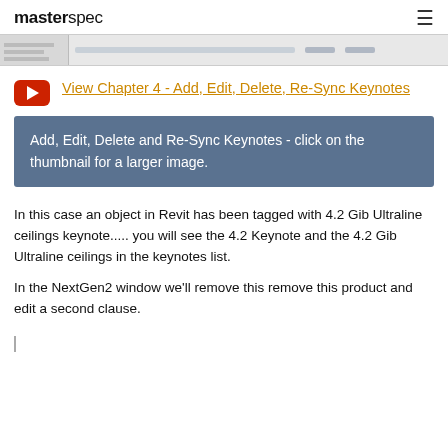masterspec
[Figure (screenshot): Partial screenshot of a software interface showing a table or list view]
View Chapter 4 - Add, Edit, Delete, Re-Sync Keynotes
Add, Edit, Delete and Re-Sync Keynotes - click on the thumbnail for a larger image.
In this case an object in Revit has been tagged with 4.2 Gib Ultraline ceilings keynote..... you will see the 4.2 Keynote and the 4.2 Gib Ultraline ceilings in the keynotes list.
In the NextGen2 window we'll remove this remove this product and edit a second clause.